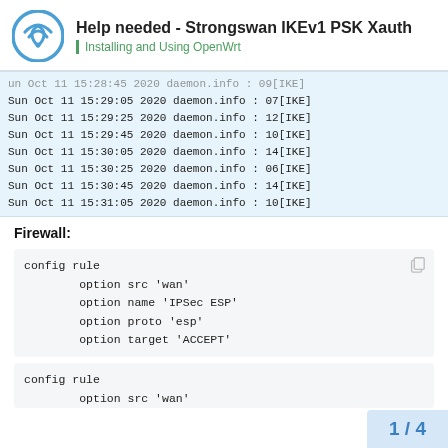Help needed - Strongswan IKEv1 PSK Xauth
Installing and Using OpenWrt
Sun Oct 11 15:29:05 2020 daemon.info : 07[IKE]
Sun Oct 11 15:29:25 2020 daemon.info : 12[IKE]
Sun Oct 11 15:29:45 2020 daemon.info : 10[IKE]
Sun Oct 11 15:30:05 2020 daemon.info : 14[IKE]
Sun Oct 11 15:30:25 2020 daemon.info : 06[IKE]
Sun Oct 11 15:30:45 2020 daemon.info : 14[IKE]
Sun Oct 11 15:31:05 2020 daemon.info : 10[IKE]
Firewall:
config rule
        option src 'wan'
        option name 'IPSec ESP'
        option proto 'esp'
        option target 'ACCEPT'
config rule
        option src 'wan'
1 / 4